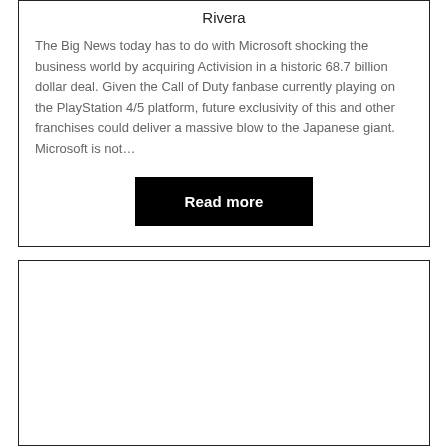Rivera
The Big News today has to do with Microsoft shocking the business world by acquiring Activision in a historic 68.7 billion dollar deal. Given the Call of Duty fanbase currently playing on the PlayStation 4/5 platform, future exclusivity of this and other franchises could deliver a massive blow to the Japanese giant. Microsoft is not…
[Figure (other): Black 'Read more' button]
[Figure (other): Empty card/box below the first article card]